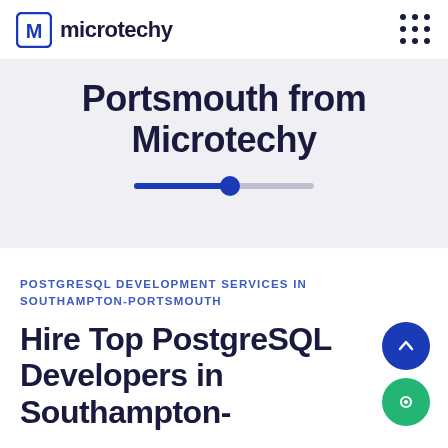microtechy
Portsmouth from Microtechy
POSTGRESQL DEVELOPMENT SERVICES IN SOUTHAMPTON-PORTSMOUTH
Hire Top PostgreSQL Developers in Southampton-